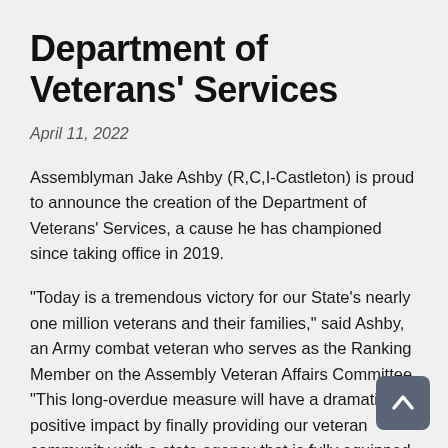Department of Veterans' Services
April 11, 2022
Assemblyman Jake Ashby (R,C,I-Castleton) is proud to announce the creation of the Department of Veterans' Services, a cause he has championed since taking office in 2019.
“Today is a tremendous victory for our State’s nearly one million veterans and their families,” said Ashby, an Army combat veteran who serves as the Ranking Member on the Assembly Veteran Affairs Committee. “This long-overdue measure will have a dramatic positive impact by finally providing our veteran community with a state agency that is fully equipped, funded and solely focused